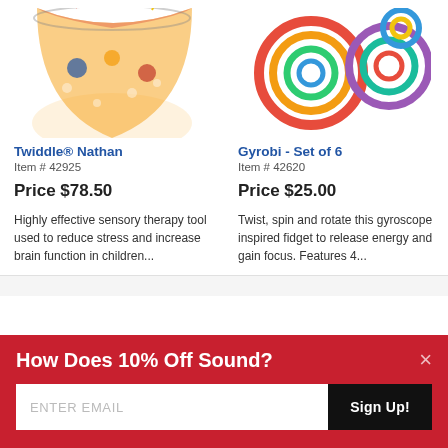[Figure (photo): Twiddle Nathan sensory toy - colorful fabric tube with beads, partially visible at top]
Twiddle® Nathan
Item # 42925
Price $78.50
Highly effective sensory therapy tool used to reduce stress and increase brain function in children...
[Figure (photo): Gyrobi Set of 6 - colorful ring/gyroscope fidget toys, partially visible at top]
Gyrobi - Set of 6
Item # 42620
Price $25.00
Twist, spin and rotate this gyroscope inspired fidget to release energy and gain focus. Features 4...
How Does 10% Off Sound?
ENTER EMAIL
Sign Up!